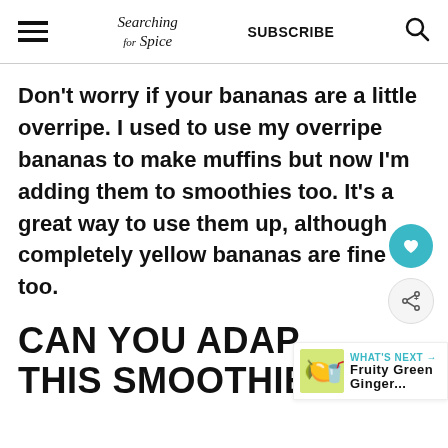Searching for Spice | SUBSCRIBE
Don't worry if your bananas are a little overripe. I used to use my overripe bananas to make muffins but now I'm adding them to smoothies too. It's a great way to use them up, although completely yellow bananas are fine too.
CAN YOU ADAP THIS SMOOTHIE